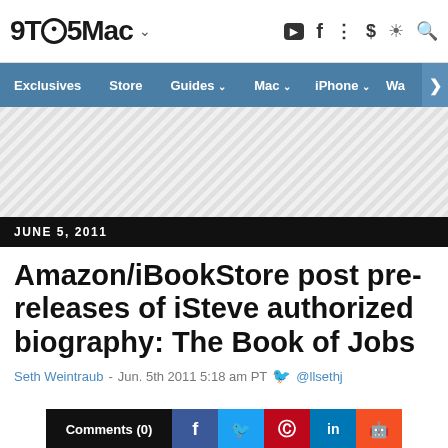9TO5Mac
Exclusives  Store  Guides  Mac  iPhone  Wa
[Figure (other): Advertisement placeholder with diagonal striped pattern]
JUNE 5, 2011
Amazon/iBookStore post pre-releases of iSteve authorized biography: The Book of Jobs
Seth Weintraub - Jun. 5th 2011 5:18 am PT @llsethj
Comments (0)